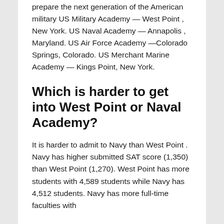prepare the next generation of the American military US Military Academy — West Point , New York. US Naval Academy — Annapolis , Maryland. US Air Force Academy —Colorado Springs, Colorado. US Merchant Marine Academy — Kings Point, New York.
Which is harder to get into West Point or Naval Academy?
It is harder to admit to Navy than West Point . Navy has higher submitted SAT score (1,350) than West Point (1,270). West Point has more students with 4,589 students while Navy has 4,512 students. Navy has more full-time faculties with